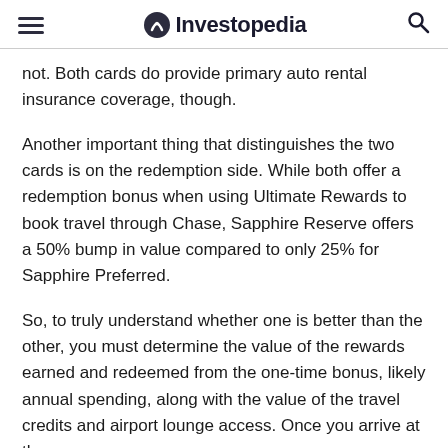Investopedia
not. Both cards do provide primary auto rental insurance coverage, though.
Another important thing that distinguishes the two cards is on the redemption side. While both offer a redemption bonus when using Ultimate Rewards to book travel through Chase, Sapphire Reserve offers a 50% bump in value compared to only 25% for Sapphire Preferred.
So, to truly understand whether one is better than the other, you must determine the value of the rewards earned and redeemed from the one-time bonus, likely annual spending, along with the value of the travel credits and airport lounge access. Once you arrive at the